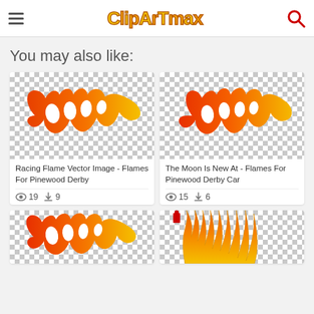ClipArtMax
You may also like:
[Figure (illustration): Flame clipart - Racing Flame Vector Image - Flames For Pinewood Derby, on checkerboard background]
Racing Flame Vector Image - Flames For Pinewood Derby
19 views, 9 downloads
[Figure (illustration): Flame clipart - The Moon Is New At - Flames For Pinewood Derby Car, on checkerboard background]
The Moon Is New At - Flames For Pinewood Derby Car
15 views, 6 downloads
[Figure (illustration): Flame clipart - partial view of racing flames, on checkerboard background]
[Figure (illustration): Flame clipart - yellow/gold tall flames, on checkerboard background]